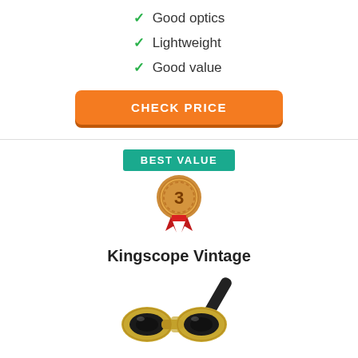Good optics
Lightweight
Good value
CHECK PRICE
BEST VALUE
[Figure (illustration): Bronze #3 medal/ribbon award badge]
Kingscope Vintage
[Figure (photo): Kingscope Vintage binoculars with handle, gold and black colored opera glasses]